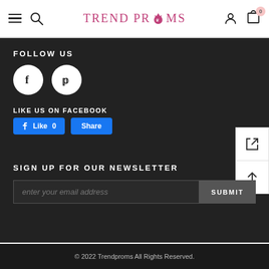TREND PROMS
FOLLOW US
[Figure (illustration): Facebook and Pinterest circular social media icons]
LIKE US ON FACEBOOK
[Figure (illustration): Facebook Like 0 and Share buttons]
SIGN UP FOR OUR NEWSLETTER
enter your email address
SUBMIT
© 2022 Trendproms All Rights Reserved.